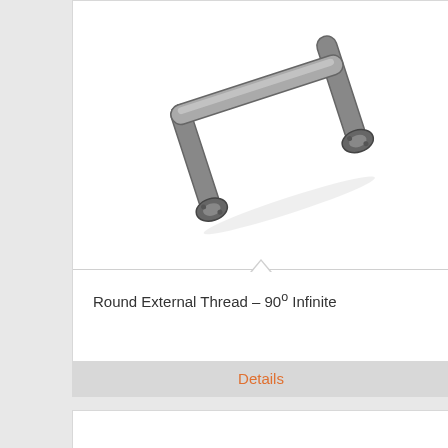[Figure (photo): Metal handle/bar with round external thread, curved U-shape with mounting ends, chrome/steel finish, shown at an angle. Product photo for 'Round External Thread – 90° Infinite'.]
Round External Thread – 90° Infinite
Details
[Figure (photo): Second product card, partially visible at bottom of page, white background, empty content area.]